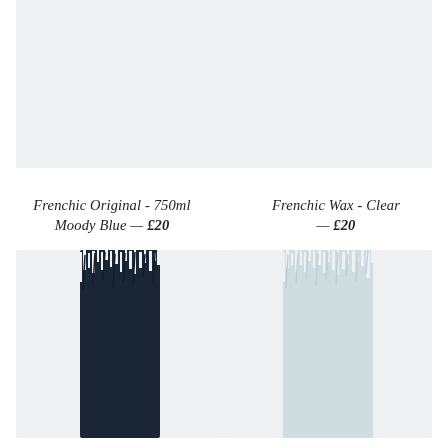[Figure (photo): Product image placeholder for Frenchic Original 750ml Moody Blue paint, light gray background with paint swatch]
[Figure (photo): Product image placeholder for Frenchic Wax Clear, light gray background]
Frenchic Original - 750ml Moody Blue — £20
Frenchic Wax - Clear — £20
[Figure (photo): Paint brush stroke swatch showing dark navy/moody blue color on light gray background]
[Figure (photo): Paint brush stroke swatch showing pale light blue/clear wax color on light gray background]